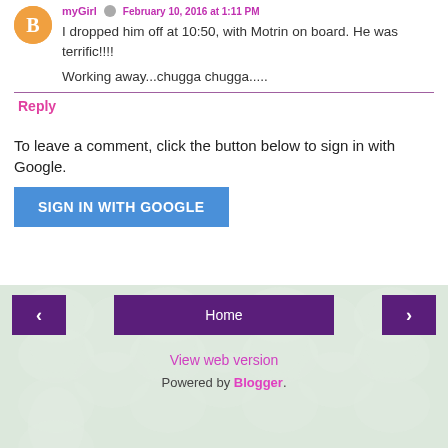I dropped him off at 10:50, with Motrin on board. He was terrific!!!!
Working away...chugga chugga.....
Reply
To leave a comment, click the button below to sign in with Google.
[Figure (other): SIGN IN WITH GOOGLE button (blue)]
[Figure (other): Footer navigation with back arrow, Home button, forward arrow, View web version link, and Powered by Blogger text on decorative petal background]
View web version
Powered by Blogger.